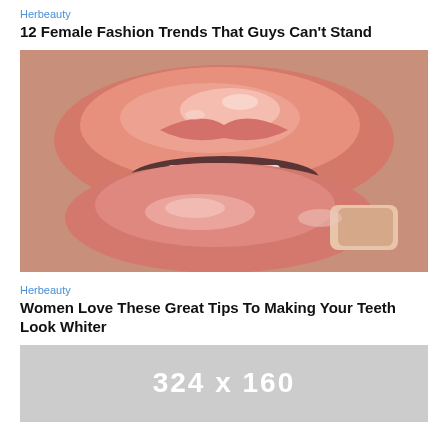Herbeauty
12 Female Fashion Trends That Guys Can't Stand
[Figure (photo): Close-up photo of glossy pink lips with a finger touching the lower lip]
Herbeauty
Women Love These Great Tips To Making Your Teeth Look Whiter
[Figure (other): Gray placeholder image with text '324 x 160']